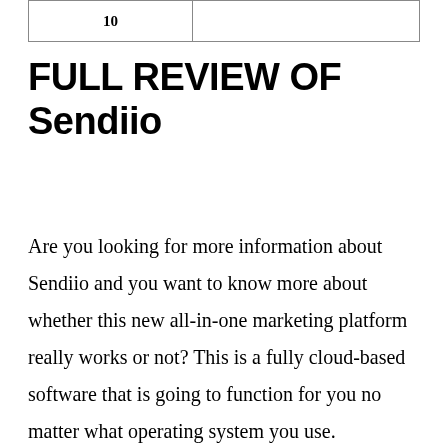| 10 |  |
FULL REVIEW OF Sendiio
Are you looking for more information about Sendiio and you want to know more about whether this new all-in-one marketing platform really works or not? This is a fully cloud-based software that is going to function for you no matter what operating system you use.